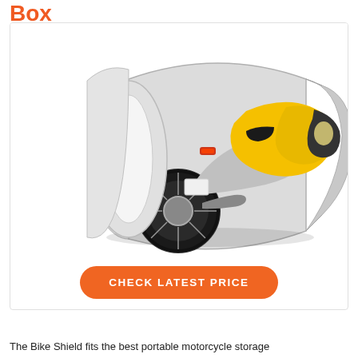Box
[Figure (photo): A yellow sport motorcycle partially inside a silver portable shelter/tent with open front flap, viewed from the rear-right angle. The shelter is white/silver colored with a tunnel-like shape.]
CHECK LATEST PRICE
The Bike Shield fits the best portable motorcycle storage